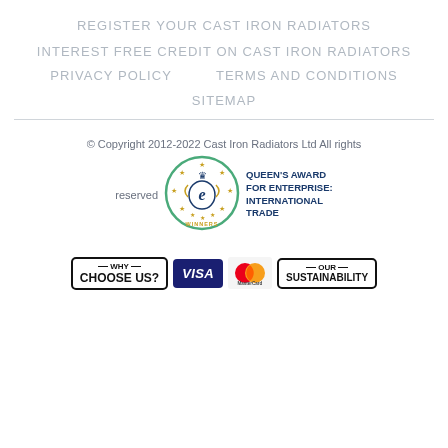REGISTER YOUR CAST IRON RADIATORS
INTEREST FREE CREDIT ON CAST IRON RADIATORS
PRIVACY POLICY    TERMS AND CONDITIONS
SITEMAP
© Copyright 2012-2022 Cast Iron Radiators Ltd All rights reserved
[Figure (logo): Queen's Award for Enterprise: International Trade winners badge - circular green border with crown and stylized E logo surrounded by gold stars, with text WINNERS at bottom]
QUEEN'S AWARD FOR ENTERPRISE: INTERNATIONAL TRADE
[Figure (logo): Bottom badges row: WHY CHOOSE US? badge, VISA payment logo, MasterCard payment logo, OUR SUSTAINABILITY badge]